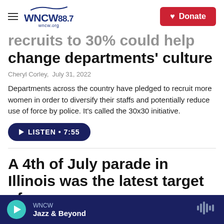WNCW 88.7 | wncw.org — Donate
recruits to 30% could help change departments' culture
Cheryl Corley, July 31, 2022
Departments across the country have pledged to recruit more women in order to diversify their staffs and potentially reduce use of force by police. It's called the 30x30 initiative.
LISTEN • 7:55
A 4th of July parade in Illinois was the latest target of a
WNCW — Jazz & Beyond